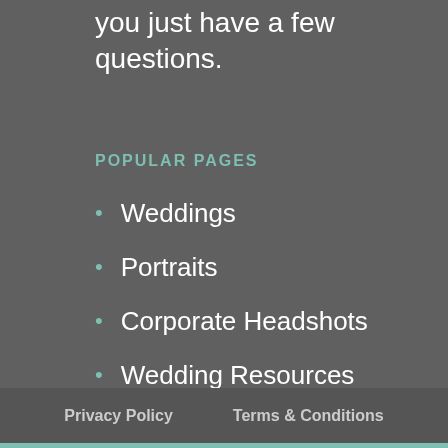you just have a few questions.
POPULAR PAGES
Weddings
Portraits
Corporate Headshots
Wedding Resources
Contact Us
Privacy Policy   Terms & Conditions